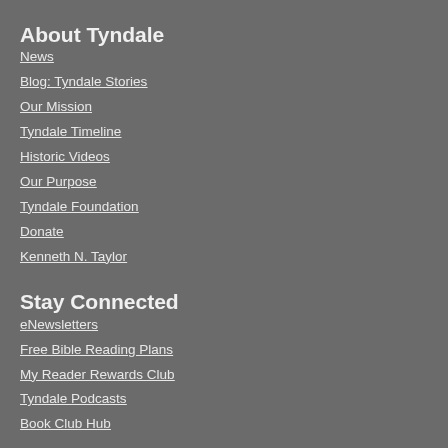About Tyndale
News
Blog: Tyndale Stories
Our Mission
Tyndale Timeline
Historic Videos
Our Purpose
Tyndale Foundation
Donate
Kenneth N. Taylor
Stay Connected
eNewsletters
Free Bible Reading Plans
My Reader Rewards Club
Tyndale Podcasts
Book Club Hub